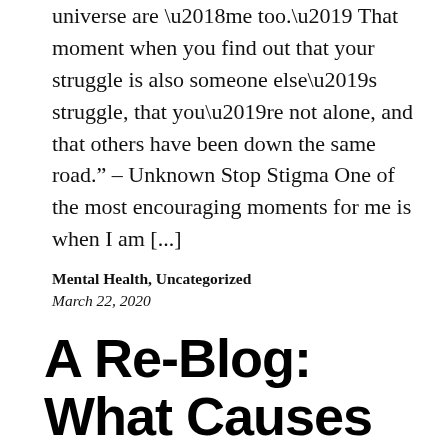universe are ‘me too.’ That moment when you find out that your struggle is also someone else’s struggle, that you’re not alone, and that others have been down the same road.” – Unknown Stop Stigma One of the most encouraging moments for me is when I am [...]
Mental Health, Uncategorized
March 22, 2020
A Re-Blog: What Causes Social Anxiety? — No